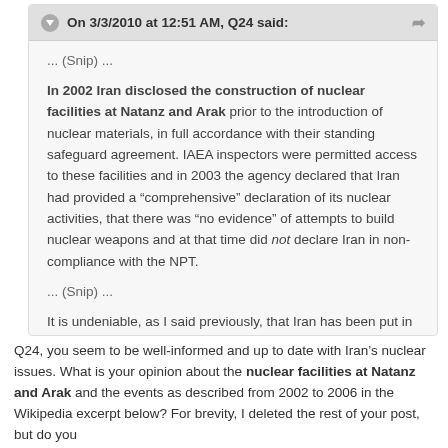On 3/3/2010 at 12:51 AM, Q24 said:
... (Snip) ...
In 2002 Iran disclosed the construction of nuclear facilities at Natanz and Arak prior to the introduction of nuclear materials, in full accordance with their standing safeguard agreement. IAEA inspectors were permitted access to these facilities and in 2003 the agency declared that Iran had provided a “comprehensive” declaration of its nuclear activities, that there was “no evidence” of attempts to build nuclear weapons and at that time did not declare Iran in non-compliance with the NPT.
... (Snip) ...
It is undeniable, as I said previously, that Iran has been put in an impossible position, engineered and exploited by the West.
Q24, you seem to be well-informed and up to date with Iran’s nuclear issues. What is your opinion about the nuclear facilities at Natanz and Arak and the events as described from 2002 to 2006 in the Wikipedia excerpt below? For brevity, I deleted the rest of your post, but do you